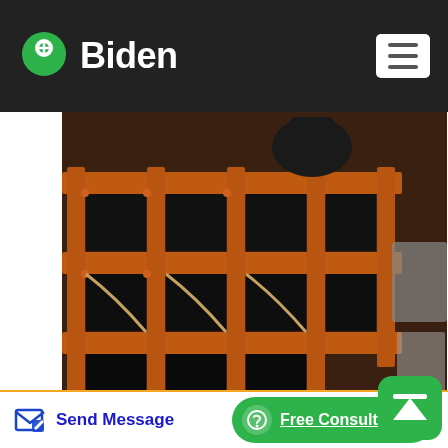Biden
[Figure (photo): Orange metal industrial frame/grid structure with black panels, mechanical equipment visible in background]
Introduction To Mineral Processing Or Beneficiation
Jan 12, 2018 Within an ore body, valuable minerals are surrounded by gangue and it is the primary function of mineral processing, to liberate and concentrate those valuable minerals. 1.3 Run-Of-Mine Material and Minerals. Generally, mineral processing begins when an ore is delivered from a
Send Message    Free Consultation